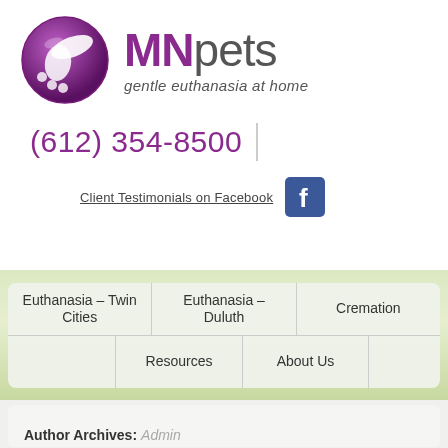[Figure (logo): MNpets logo: purple circle with stylized paw/wing icon, text 'MNpets' and tagline 'gentle euthanasia at home']
(612) 354-8500
Client Testimonials on Facebook
[Figure (logo): Facebook logo icon, blue square with white 'f']
Euthanasia – Twin Cities
Euthanasia – Duluth
Cremation
Resources
About Us
Author Archives: Admin